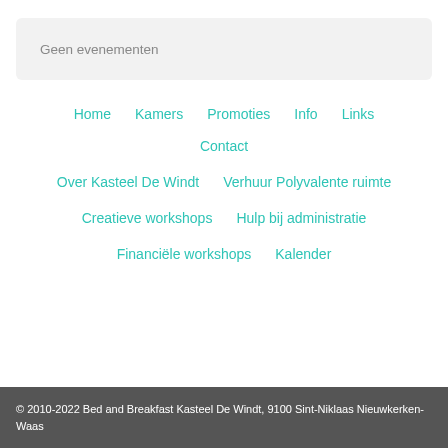Geen evenementen
Home
Kamers
Promoties
Info
Links
Contact
Over Kasteel De Windt
Verhuur Polyvalente ruimte
Creatieve workshops
Hulp bij administratie
Financiële workshops
Kalender
© 2010-2022 Bed and Breakfast Kasteel De Windt, 9100 Sint-Niklaas Nieuwkerken-Waas